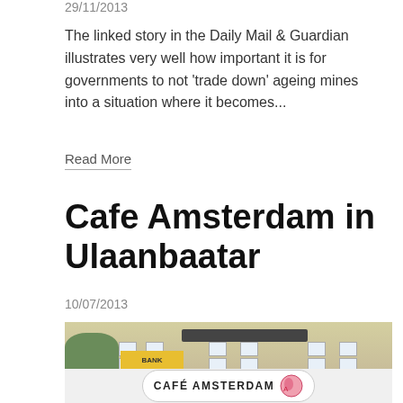29/11/2013
The linked story in the Daily Mail & Guardian illustrates very well how important it is for governments to not 'trade down' ageing mines into a situation where it becomes...
Read More
Cafe Amsterdam in Ulaanbaatar
10/07/2013
[Figure (photo): Street photo of a building with a 'Café Amsterdam' sign on the storefront, a yellow building with multiple windows and a dark ventilation band near the top]